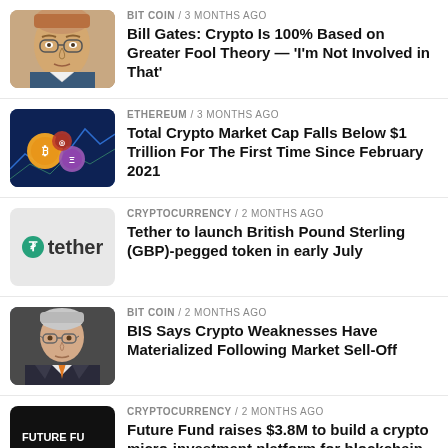[Figure (photo): Photo of Bill Gates wearing glasses]
BIT COIN / 3 months ago
Bill Gates: Crypto Is 100% Based on Greater Fool Theory — 'I'm Not Involved in That'
[Figure (photo): Crypto coins on blue background with trading charts]
ETHEREUM / 3 months ago
Total Crypto Market Cap Falls Below $1 Trillion For The First Time Since February 2021
[Figure (logo): Tether logo on light grey background]
CRYPTOCURRENCY / 2 months ago
Tether to launch British Pound Sterling (GBP)-pegged token in early July
[Figure (photo): Photo of older man in suit with orange tie]
BIT COIN / 2 months ago
BIS Says Crypto Weaknesses Have Materialized Following Market Sell-Off
[Figure (logo): Future Fund dark background with white text FUTURE FU and SPEND. EARN. GROW.]
CRYPTOCURRENCY / 2 months ago
Future Fund raises $3.8M to build a crypto micro-investment platform for blockchain-based assets